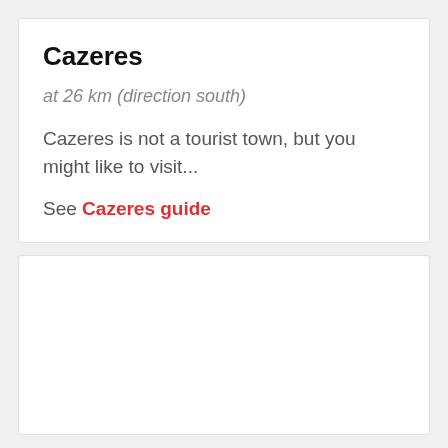Cazeres
at 26 km (direction south)
Cazeres is not a tourist town, but you might like to visit...
See Cazeres guide